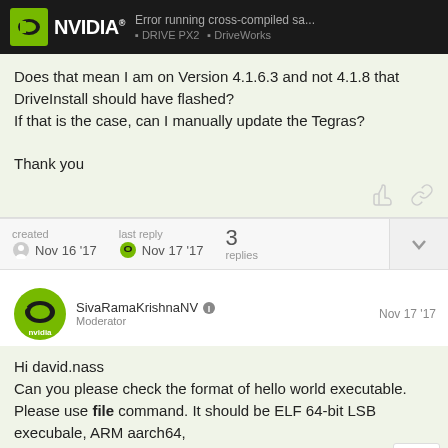Error running cross-compiled sa... | DRIVE PX2 | DriveWorks
Does that mean I am on Version 4.1.6.3 and not 4.1.8 that DriveInstall should have flashed?
If that is the case, can I manually update the Tegras?

Thank you
| created | last reply | replies |
| --- | --- | --- |
| Nov 16 '17 | Nov 17 '17 | 3 |
SivaRamaKrishnaNV
Moderator
Nov 17 '17
Hi david.nass
Can you please check the format of hello world executable. Please use file command. It should be ELF 64-bit LSB execubale, ARM aarch64,